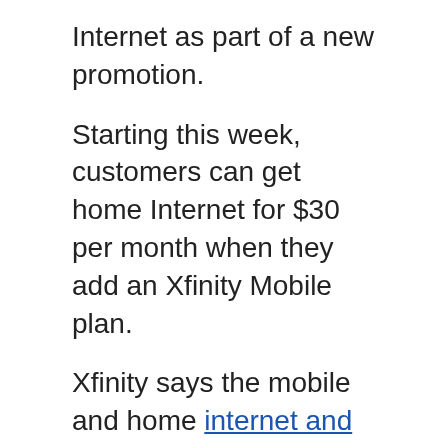Internet as part of a new promotion.
Starting this week, customers can get home Internet for $30 per month when they add an Xfinity Mobile plan.
Xfinity says the mobile and home internet and mobile bundle comes with a two-year price guarantee and no contract.
The promo currently listed on Xfinity’s website says the mobile plans are “at regular prices.” Xfinity offers one line with unlimited data for $45 per month, and two